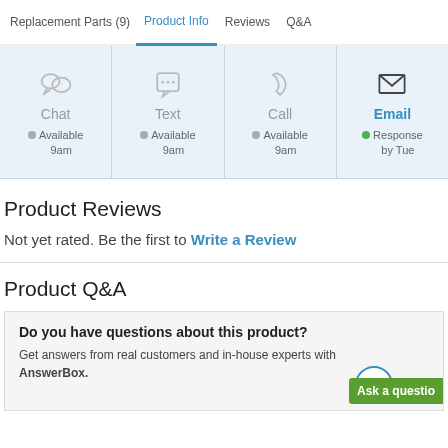Replacement Parts (9)  |  Product Info  |  Reviews  |  Q&A
[Figure (infographic): Contact options bar with four columns: Chat (Available 9am), Text (Available 9am), Call (Available 9am), Email (Response by Tue, highlighted in blue with green active dot)]
Product Reviews
Not yet rated. Be the first to Write a Review
Product Q&A
Do you have questions about this product? Get answers from real customers and in-house experts with AnswerBox.